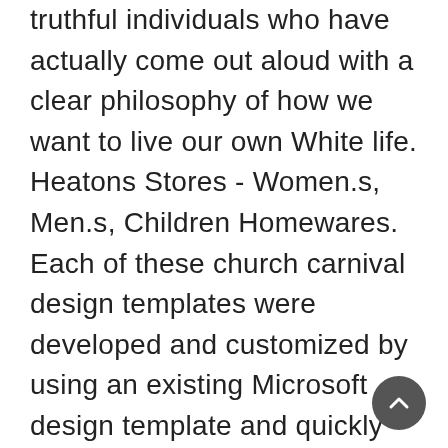truthful individuals who have actually come out aloud with a clear philosophy of how we want to live our own White life. Heatons Stores - Women.s, Men.s, Children Homewares. Each of these church carnival design templates were developed and customized by using an existing Microsoft design template and quickly modifying the images, text, and colors to suit the requirements of a church carnival event.Kohl's has the credibility for its quality items and this fashion line is offered online and at their department shops. The Ed Hardy guys's collection is broadened with more dress shirts, polo shirts, T t-shirts and guys hoodies, all with